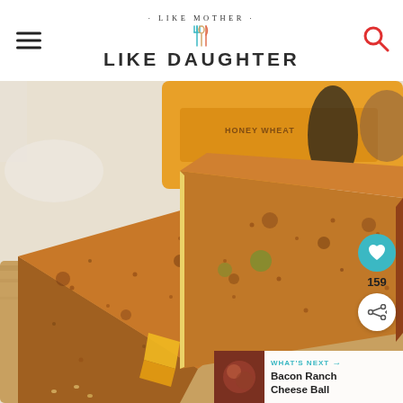· LIKE MOTHER · LIKE DAUGHTER
[Figure (photo): Close-up photo of a grilled cheese sandwich cut diagonally, showing golden-brown toasted honey wheat bread with melted cheese oozing out, placed on a wooden cutting board. In the background is an orange bread bag labeled Honey Wheat. On the right side are a teal heart button with count 159 and a share button. Bottom right shows a 'WHAT'S NEXT' widget with a thumbnail and text 'Bacon Ranch Cheese Ball'.]